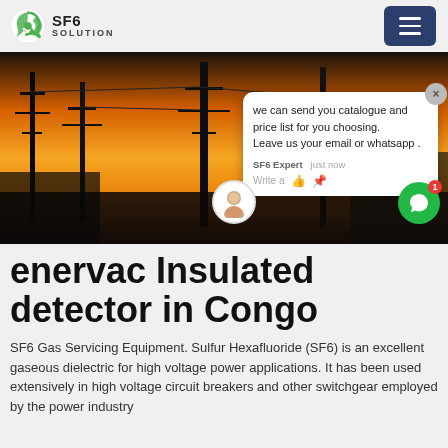[Figure (logo): SF6 Solution logo with green circular recycling-style icon and bold SF6 SOLUTION text]
[Figure (photo): Industrial power station or substation at sunset/dusk with orange sky, silhouetted electrical towers and switchgear structures]
enervac Insulated detector in Congo
SF6 Gas Servicing Equipment. Sulfur Hexafluoride (SF6) is an excellent gaseous dielectric for high voltage power applications. It has been used extensively in high voltage circuit breakers and other switchgear employed by the power industry